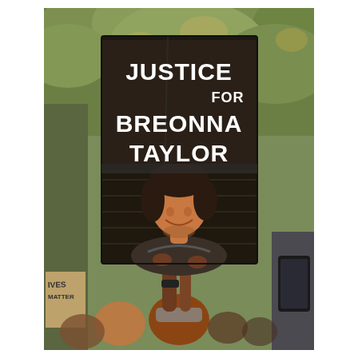[Figure (photo): A protest photograph showing a person holding up a large dark sign that reads 'JUSTICE FOR BREONNA TAYLOR' in bold white text, with a printed portrait photo of Breonna Taylor on the lower half of the sign. The background shows green leafy trees. Other protesters are visible in the foreground and to the sides, some holding signs. One sign on the left partially shows 'LIVES MATTER'.]